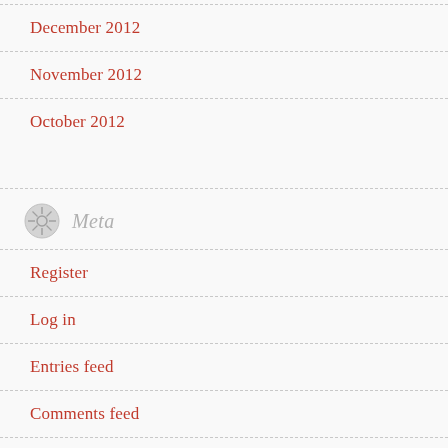December 2012
November 2012
October 2012
Meta
Register
Log in
Entries feed
Comments feed
WordPress.com